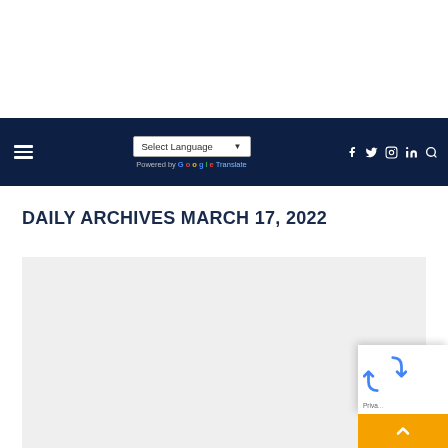Navigation bar with hamburger menu, Select Language dropdown, Google Translate, and social icons (Facebook, Twitter, Instagram, LinkedIn, Search)
DAILY ARCHIVES MARCH 17, 2022
[Figure (other): Gray placeholder content block below the title]